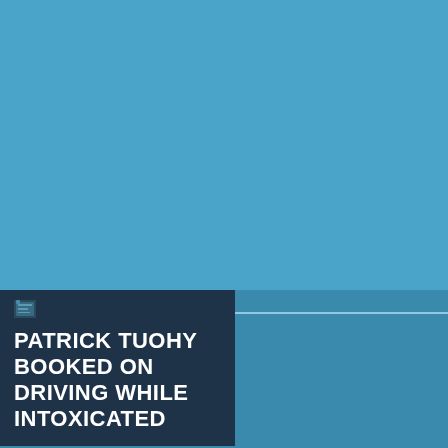[Figure (illustration): Blue background design with a dark navy overlay box in the lower-left containing a title. The background is a medium blue (#4aa3c8) with a darker horizontal stripe band. A dark teal/navy rectangle overlays the lower-left quadrant.]
PATRICK TUOHY BOOKED ON DRIVING WHILE INTOXICATED